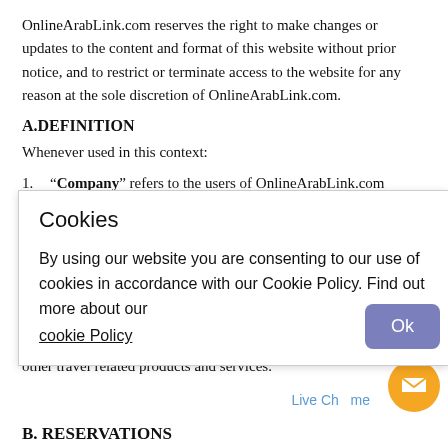OnlineArabLink.com reserves the right to make changes or updates to the content and format of this website without prior notice, and to restrict or terminate access to the website for any reason at the sole discretion of OnlineArabLink.com.
A.DEFINITION
Whenever used in this context:
1. "Company" refers to the users of OnlineArabLink.com
[Figure (other): Cookie consent overlay with title 'Cookies', body text 'By using our website you are consenting to our use of cookies in accordance with our Cookie Policy. Find out more about our cookie Policy', and an 'Ok' button.]
hotels, apartments, villas or all other types of accommodation and other travel related products and services.
Live Chat
B. RESERVATIONS